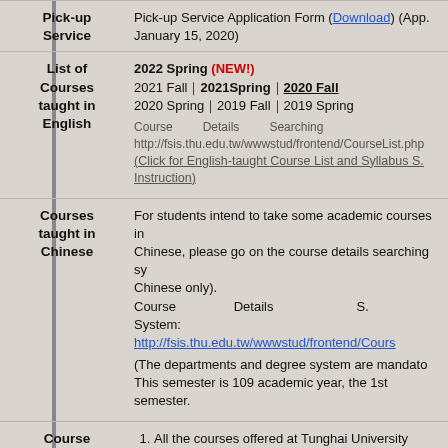| Category | Details |
| --- | --- |
| Pick-up Service | Pick-up Service Application Form (Download) (App. January 15, 2020) |
| List of Courses taught in English | 2022 Spring (NEW!)
2021 Fall｜2021Spring｜2020 Fall
2020 Spring｜2019 Fall｜2019 Spring

Course Details Searching
http://fsis.thu.edu.tw/wwwstud/frontend/CourseList.php
(Click for English-taught Course List and Syllabus S. Instruction) |
| Courses taught in Chinese | For students intend to take some academic courses in Chinese, please go on the course details searching system (Chinese only).
Course Details S. System: http://fsis.thu.edu.tw/wwwstud/frontend/Cours...

(The departments and degree system are mandatory. This semester is 109 academic year, the 1st semester.) |
| Course Restrictions | 1. All the courses offered at Tunghai University to exchange students, but the final decision accepting the students will be made college/department depending on the size of classes and the level (including language and academic level) of the students.
2. Credits restriction for each semester: Min. credits, Maximum 25 credits, including the Language Courses offered by our Chinese L. Center (CLC). CLC Chinese courses... |